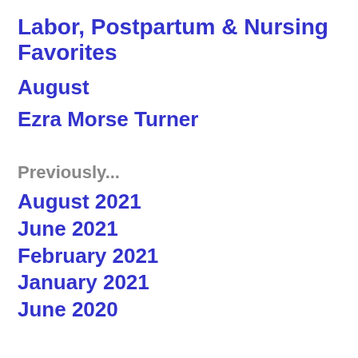Labor, Postpartum & Nursing Favorites
August
Ezra Morse Turner
Previously...
August 2021
June 2021
February 2021
January 2021
June 2020